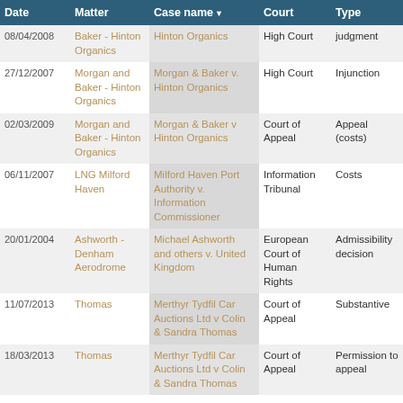| Date | Matter | Case name | Court | Type |
| --- | --- | --- | --- | --- |
| 08/04/2008 | Baker - Hinton Organics | Hinton Organics | High Court | judgment |
| 27/12/2007 | Morgan and Baker - Hinton Organics | Morgan & Baker v. Hinton Organics | High Court | Injunction |
| 02/03/2009 | Morgan and Baker - Hinton Organics | Morgan & Baker v Hinton Organics | Court of Appeal | Appeal (costs) |
| 06/11/2007 | LNG Milford Haven | Milford Haven Port Authority v. Information Commissioner | Information Tribunal | Costs |
| 20/01/2004 | Ashworth - Denham Aerodrome | Michael Ashworth and others v. United Kingdom | European Court of Human Rights | Admissibility decision |
| 11/07/2013 | Thomas | Merthyr Tydfil Car Auctions Ltd v Colin & Sandra Thomas | Court of Appeal | Substantive |
| 18/03/2013 | Thomas | Merthyr Tydfil Car Auctions Ltd v Colin & Sandra Thomas | Court of Appeal | Permission to appeal |